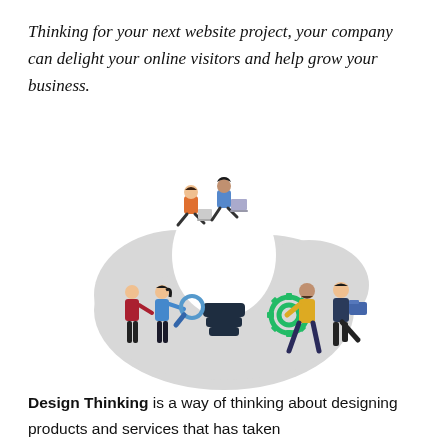Thinking for your next website project, your company can delight your online visitors and help grow your business.
[Figure (illustration): Illustration of people around a large glowing light bulb on a grey blob shape. Two people sit on top of the bulb using laptops, two people on the left examine with a magnifying glass, a person in the center holds a dark lamp base, and two people on the right hold a green gear and a folder.]
Design Thinking is a way of thinking about designing products and services that has taken